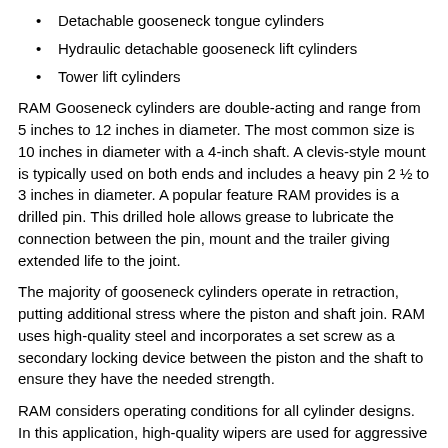Detachable gooseneck tongue cylinders
Hydraulic detachable gooseneck lift cylinders
Tower lift cylinders
RAM Gooseneck cylinders are double-acting and range from 5 inches to 12 inches in diameter. The most common size is 10 inches in diameter with a 4-inch shaft. A clevis-style mount is typically used on both ends and includes a heavy pin 2 ½ to 3 inches in diameter. A popular feature RAM provides is a drilled pin. This drilled hole allows grease to lubricate the connection between the pin, mount and the trailer giving extended life to the joint.
The majority of gooseneck cylinders operate in retraction, putting additional stress where the piston and shaft join. RAM uses high-quality steel and incorporates a set screw as a secondary locking device between the piston and the shaft to ensure they have the needed strength.
RAM considers operating conditions for all cylinder designs. In this application, high-quality wipers are used for aggressive scraping to remove material adhering to the shaft during transport. Corrosion resistant shafts and RAM's two-part urethane paint process also provide additional protection.